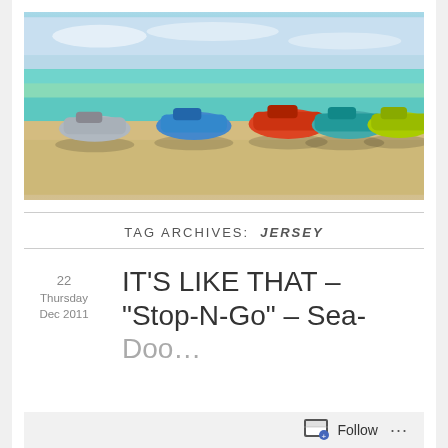[Figure (photo): Five personal watercraft (jet skis) lined up on a sandy beach with turquoise ocean and blue sky in the background. The watercraft are various colors including silver/black, blue, orange/red, teal, and yellow-green.]
TAG ARCHIVES: JERSEY
22
Thursday
Dec 2011
IT’S LIKE THAT – “Stop-N-Go” – Sea-Doo…